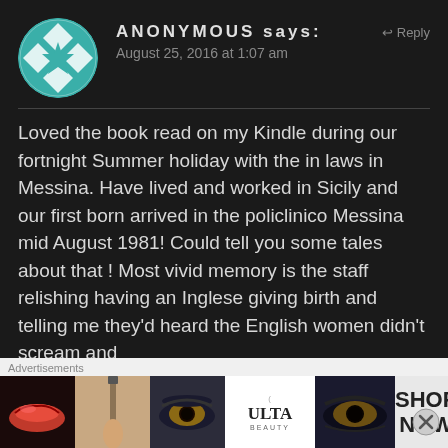[Figure (illustration): Round avatar with teal/white geometric quilt-star pattern on dark background]
ANONYMOUS says:
↩ Reply
August 25, 2016 at 1:07 am
Loved the book read on my Kindle during our fortnight Summer holiday with the in laws in Messina. Have lived and worked in Sicily and our first born arrived in the policlinico Messina mid August 1981! Could tell you some tales about that ! Most vivid memory is the staff relishing having an Inglese giving birth and telling me they'd heard the English women didn't scream and
Advertisements
[Figure (photo): Advertisement banner for Ulta Beauty showing makeup images including lips, brush, eyes, Ulta logo, and SHOP NOW text]